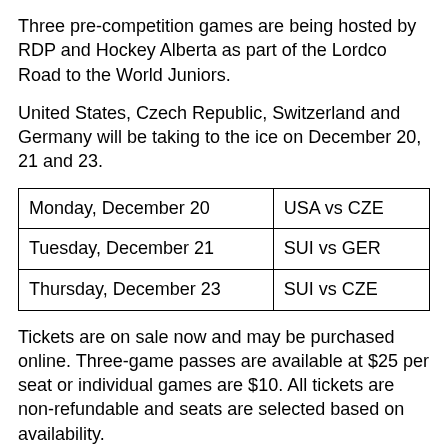Three pre-competition games are being hosted by RDP and Hockey Alberta as part of the Lordco Road to the World Juniors.
United States, Czech Republic, Switzerland and Germany will be taking to the ice on December 20, 21 and 23.
| Monday, December 20 | USA vs CZE |
| Tuesday, December 21 | SUI vs GER |
| Thursday, December 23 | SUI vs CZE |
Tickets are on sale now and may be purchased online. Three-game passes are available at $25 per seat or individual games are $10. All tickets are non-refundable and seats are selected based on availability.
Doors open one hour prior to game time. Concessions and bar will be open on site.